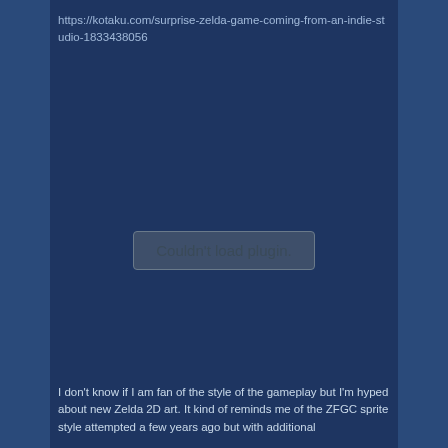https://kotaku.com/surprise-zelda-game-coming-from-an-indie-studio-1833438056
[Figure (other): Embedded plugin area showing 'Couldn't load plugin.' error message on dark blue background]
I don't know if I am fan of the style of the gameplay but I'm hyped about new Zelda 2D art. It kind of reminds me of the ZFGC sprite style attempted a few years ago but with additional